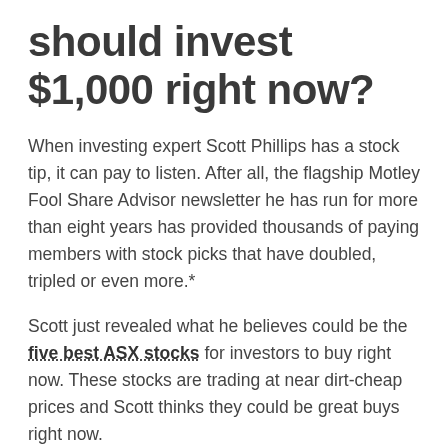should invest $1,000 right now?
When investing expert Scott Phillips has a stock tip, it can pay to listen. After all, the flagship Motley Fool Share Advisor newsletter he has run for more than eight years has provided thousands of paying members with stock picks that have doubled, tripled or even more.*
Scott just revealed what he believes could be the five best ASX stocks for investors to buy right now. These stocks are trading at near dirt-cheap prices and Scott thinks they could be great buys right now.
See The 5 Stocks
*Returns as of August 16th 2021